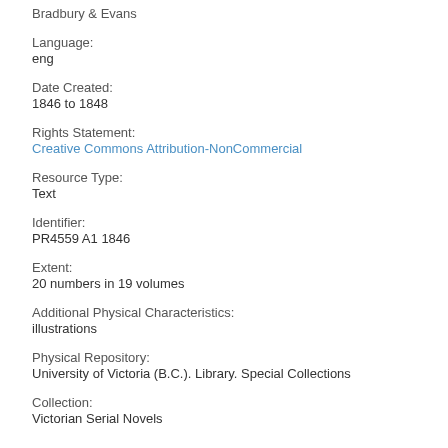Bradbury & Evans
Language:
eng
Date Created:
1846 to 1848
Rights Statement:
Creative Commons Attribution-NonCommercial
Resource Type:
Text
Identifier:
PR4559 A1 1846
Extent:
20 numbers in 19 volumes
Additional Physical Characteristics:
illustrations
Physical Repository:
University of Victoria (B.C.). Library. Special Collections
Collection:
Victorian Serial Novels